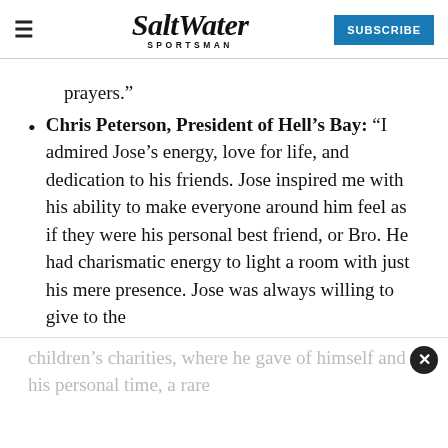Salt Water Sportsman | SUBSCRIBE
prayers.”
Chris Peterson, President of Hell’s Bay: “I admired Jose’s energy, love for life, and dedication to his friends. Jose inspired me with his ability to make everyone around him feel as if they were his personal best friend, or Bro. He had charismatic energy to light a room with just his mere presence. Jose was always willing to give to the
children’s charities, where he gave of himself and his personal time, a rare